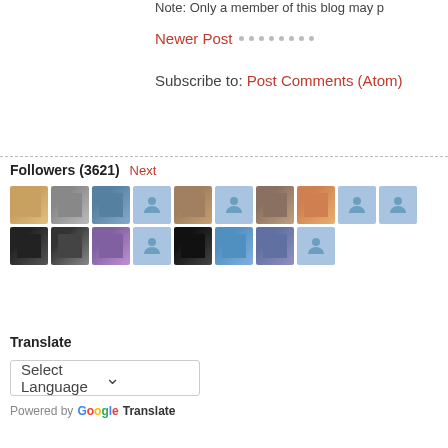Note: Only a member of this blog may p...
Newer Post · · · · · · · ·
Subscribe to: Post Comments (Atom)
[Figure (other): Followers section showing 3621 followers with avatar thumbnails in two rows, followed by a Translate widget with Select Language dropdown and Powered by Google Translate text]
Followers (3621) Next
Translate
Select Language
Powered by Google Translate